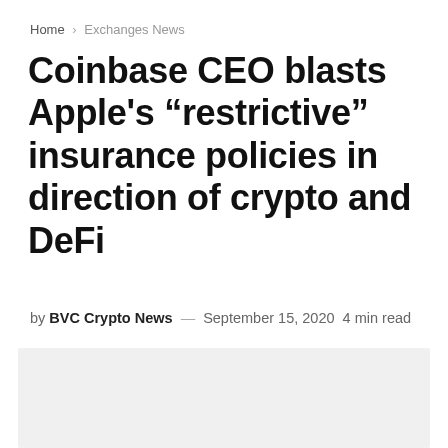Home > Exchanges News
Coinbase CEO blasts Apple's “restrictive” insurance policies in direction of crypto and DeFi
by BVC Crypto News — September 15, 2020  4 min read
[Figure (photo): Light gray placeholder image for article photo]